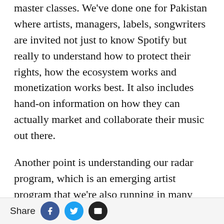master classes. We've done one for Pakistan where artists, managers, labels, songwriters are invited not just to know Spotify but really to understand how to protect their rights, how the ecosystem works and monetization works best. It also includes hand-on information on how they can actually market and collaborate their music out there.
Another point is understanding our radar program, which is an emerging artist program that we're also running in many markets. I don't know if Hozier was part of the radar program; what we do is we look at artists that do very well in a relatively short time. I personally don't make decisions on which artist we should
Share